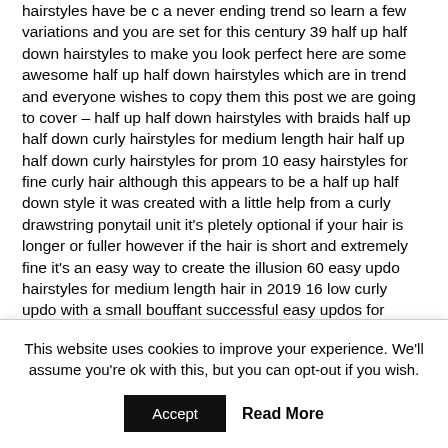hairstyles have be c a never ending trend so learn a few variations and you are set for this century 39 half up half down hairstyles to make you look perfect here are some awesome half up half down hairstyles which are in trend and everyone wishes to copy them this post we are going to cover – half up half down hairstyles with braids half up half down curly hairstyles for medium length hair half up half down curly hairstyles for prom 10 easy hairstyles for fine curly hair although this appears to be a half up half down style it was created with a little help from a curly drawstring ponytail unit it's pletely optional if your hair is longer or fuller however if the hair is short and extremely fine it's an easy way to create the illusion 60 easy updo hairstyles for medium length hair in 2019 16 low curly updo with a small bouffant successful easy updos for medium hair always look like a lot more effort went into creating them at home try teasing the crown of the head and styling the hair half up half down 17 incredibly pretty styles for naturally curly hair 17 incredibly pretty styles for naturally curly hair because your curls don t need to be straightened they re beautiful as they are.
This website uses cookies to improve your experience. We'll assume you're ok with this, but you can opt-out if you wish.
Accept | Read More